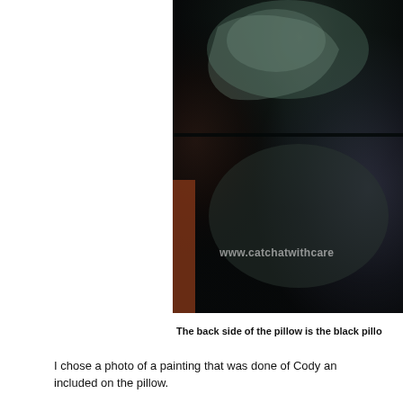[Figure (photo): Close-up dark photo of a pillow showing the back side which is black pillow material, with a visible seam/edge line across the middle. A watermark reads www.catchatwithcare partially visible at bottom right.]
The back side of the pillow is the black pillo
I chose a photo of a painting that was done of Cody an included on the pillow.